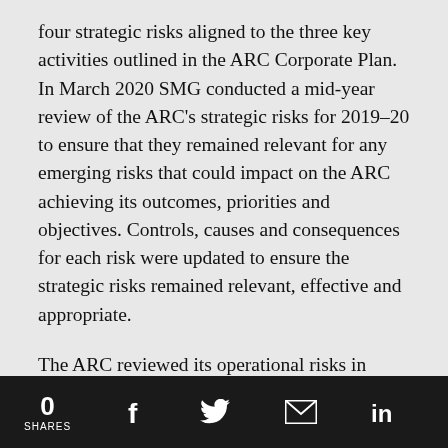four strategic risks aligned to the three key activities outlined in the ARC Corporate Plan. In March 2020 SMG conducted a mid-year review of the ARC's strategic risks for 2019–20 to ensure that they remained relevant for any emerging risks that could impact on the ARC achieving its outcomes, priorities and objectives. Controls, causes and consequences for each risk were updated to ensure the strategic risks remained relevant, effective and appropriate.
The ARC reviewed its operational risks in September 2019 and May 2020. This biannual activity is designed to ensure that business areas have a risk approach embedded into processes and planning aimed to deliver against the activities outlined in the Corporate
0 SHARES  f  [twitter]  [mail]  in